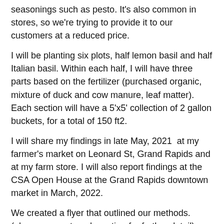seasonings such as pesto. It's also common in stores, so we're trying to provide it to our customers at a reduced price.
I will be planting six plots, half lemon basil and half Italian basil. Within each half, I will have three parts based on the fertilizer (purchased organic, mixture of duck and cow manure, leaf matter). Each section will have a 5'x5' collection of 2 gallon buckets, for a total of 150 ft2.
I will share my findings in late May, 2021 at my farmer's market on Leonard St, Grand Rapids and at my farm store. I will also report findings at the CSA Open House at the Grand Rapids downtown market in March, 2022.
We created a flyer that outlined our methods. (please see outreach section for further detail)
Grant Flyer (BEST)--experiment 1
We collected leaves from anyone who didn't want theirs, so long as they did not use chemicals. Once we had piles of leaves, we'd let